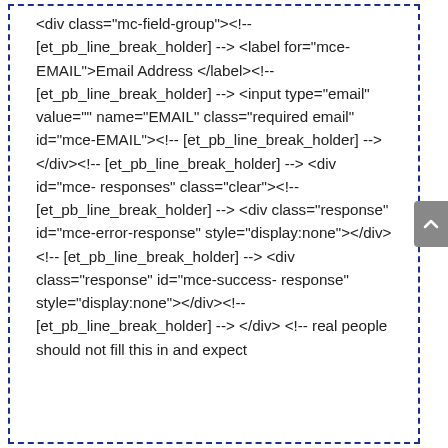<div class="mc-field-group"><!-- [et_pb_line_break_holder] --> <label for="mce-EMAIL">Email Address </label><!-- [et_pb_line_break_holder] --> <input type="email" value="" name="EMAIL" class="required email" id="mce-EMAIL"><!-- [et_pb_line_break_holder] --></div><!-- [et_pb_line_break_holder] --> <div id="mce-responses" class="clear"><!-- [et_pb_line_break_holder] --> <div class="response" id="mce-error-response" style="display:none"></div><!-- [et_pb_line_break_holder] --> <div class="response" id="mce-success-response" style="display:none"></div><!-- [et_pb_line_break_holder] --> </div> <!-- real people should not fill this in and expect